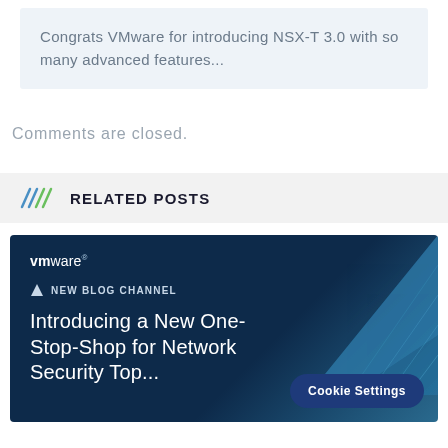Congrats VMware for introducing NSX-T 3.0 with so many advanced features...
Comments are closed.
RELATED POSTS
[Figure (screenshot): VMware blog card with dark navy background, VMware logo, 'NEW BLOG CHANNEL' label with icon, and title text 'Introducing a New One-Stop-Shop for Network Security To...' with a geometric blue triangle decoration on the right side. A 'Cookie Settings' button overlay appears at the bottom right.]